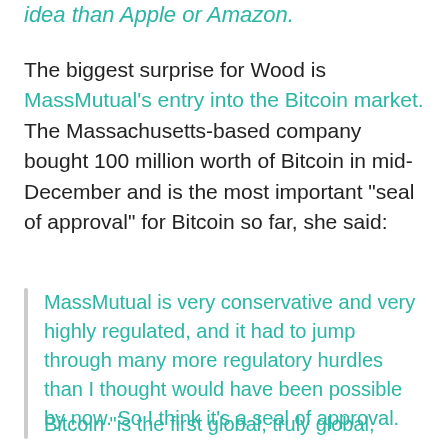idea than Apple or Amazon.
The biggest surprise for Wood is MassMutual's entry into the Bitcoin market. The Massachusetts-based company bought 100 million worth of Bitcoin in mid-December and is the most important “seal of approval” for Bitcoin so far, she said:
MassMutual is very conservative and very highly regulated, and it had to jump through many more regulatory hurdles than I thought would have been possible by now. So I think it’s a seal of approval.
Bitcoin “is the first global, truly global,